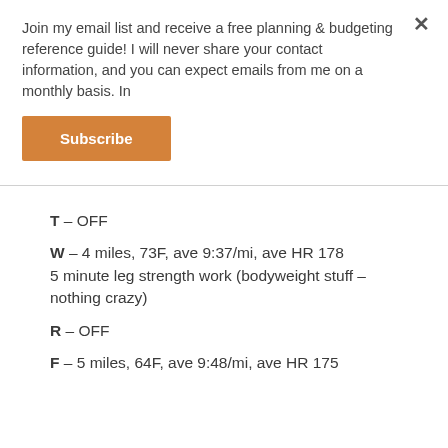Join my email list and receive a free planning & budgeting reference guide! I will never share your contact information, and you can expect emails from me on a monthly basis. In
Subscribe
T – OFF
W – 4 miles, 73F, ave 9:37/mi, ave HR 178
5 minute leg strength work (bodyweight stuff – nothing crazy)
R – OFF
F – 5 miles, 64F, ave 9:48/mi, ave HR 175